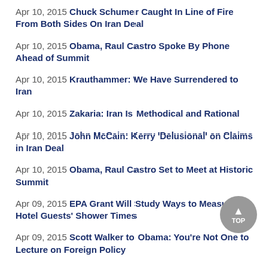Apr 10, 2015 Chuck Schumer Caught In Line of Fire From Both Sides On Iran Deal
Apr 10, 2015 Obama, Raul Castro Spoke By Phone Ahead of Summit
Apr 10, 2015 Krauthammer: We Have Surrendered to Iran
Apr 10, 2015 Zakaria: Iran Is Methodical and Rational
Apr 10, 2015 John McCain: Kerry 'Delusional' on Claims in Iran Deal
Apr 10, 2015 Obama, Raul Castro Set to Meet at Historic Summit
Apr 09, 2015 EPA Grant Will Study Ways to Measure Hotel Guests' Shower Times
Apr 09, 2015 Scott Walker to Obama: You're Not One to Lecture on Foreign Policy